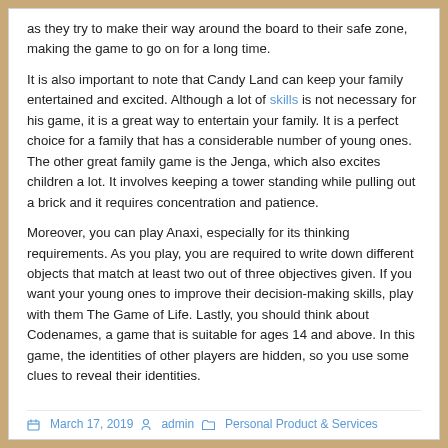as they try to make their way around the board to their safe zone, making the game to go on for a long time.
It is also important to note that Candy Land can keep your family entertained and excited. Although a lot of skills is not necessary for his game, it is a great way to entertain your family. It is a perfect choice for a family that has a considerable number of young ones. The other great family game is the Jenga, which also excites children a lot. It involves keeping a tower standing while pulling out a brick and it requires concentration and patience.
Moreover, you can play Anaxi, especially for its thinking requirements. As you play, you are required to write down different objects that match at least two out of three objectives given. If you want your young ones to improve their decision-making skills, play with them The Game of Life. Lastly, you should think about Codenames, a game that is suitable for ages 14 and above. In this game, the identities of other players are hidden, so you use some clues to reveal their identities.
March 17, 2019   admin   Personal Product & Services